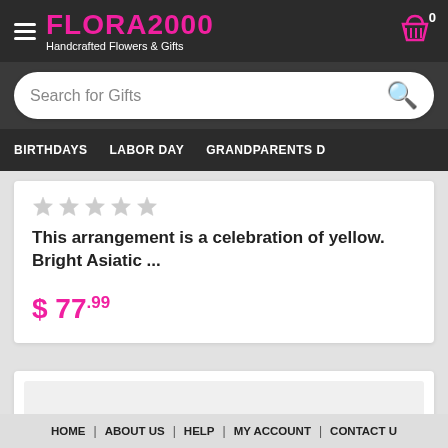FLORA2000 — Handcrafted Flowers & Gifts
Search for Gifts
BIRTHDAYS | LABOR DAY | GRANDPARENTS D
This arrangement is a celebration of yellow. Bright Asiatic ...
$ 77.99
HOME | ABOUT US | HELP | MY ACCOUNT | CONTACT U